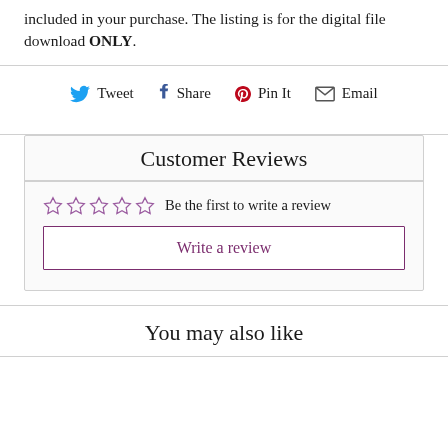included in your purchase. The listing is for the digital file download ONLY.
Tweet  Share  Pin It  Email
Customer Reviews
☆☆☆☆☆ Be the first to write a review
Write a review
You may also like